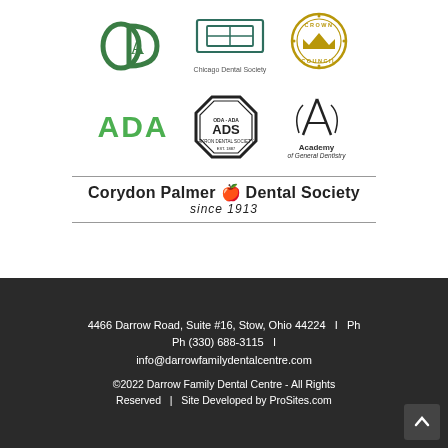[Figure (logo): Row of dental organization logos: ODA (Ohio Dental Association), Chicago Dental Society, Crown Council]
[Figure (logo): Row of dental organization logos: ADA (green text), ADS (Akron Dental Society badge), Academy of General Dentistry]
[Figure (logo): Corydon Palmer Dental Society since 1913 logo with horizontal rules]
4466 Darrow Road, Suite #16, Stow, Ohio 44224  I  Ph Ph (330) 688-3115  I  info@darrowfamilydentalcentre.com
©2022 Darrow Family Dental Centre - All Rights Reserved   |   Site Developed by ProSites.com